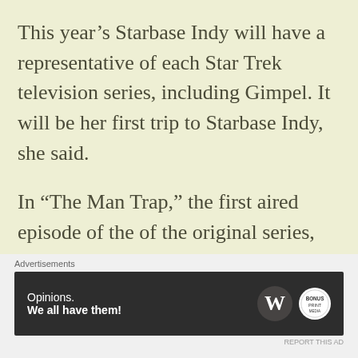This year's Starbase Indy will have a representative of each Star Trek television series, including Gimpel. It will be her first trip to Starbase Indy, she said.
In “The Man Trap,” the first aired episode of the of the original series, Gimpel is the M-113
Advertisements
[Figure (other): Advertisement banner with dark background. Left side shows text 'Opinions. We all have them!' Right side shows WordPress logo (W in circle) and a small circular logo.]